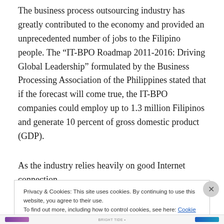The business process outsourcing industry has greatly contributed to the economy and provided an unprecedented number of jobs to the Filipino people. The “IT-BPO Roadmap 2011-2016: Driving Global Leadership” formulated by the Business Processing Association of the Philippines stated that if the forecast will come true, the IT-BPO companies could employ up to 1.3 million Filipinos and generate 10 percent of gross domestic product (GDP).
As the industry relies heavily on good Internet connection,
Privacy & Cookies: This site uses cookies. By continuing to use this website, you agree to their use.
To find out more, including how to control cookies, see here: Cookie Policy

Close and accept